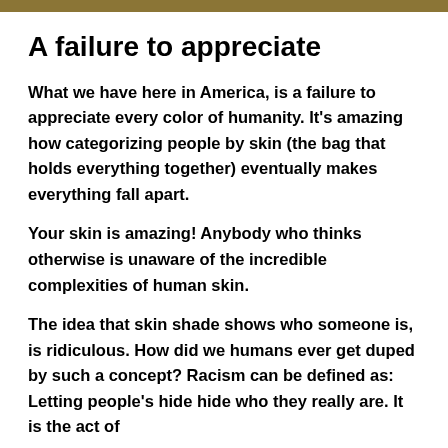A failure to appreciate
What we have here in America, is a failure to appreciate every color of humanity. It’s amazing how categorizing people by skin (the bag that holds everything together) eventually makes everything fall apart.
Your skin is amazing! Anybody who thinks otherwise is unaware of the incredible complexities of human skin.
The idea that skin shade shows who someone is, is ridiculous. How did we humans ever get duped by such a concept? Racism can be defined as: Letting people’s hide hide who they really are. It is the act of